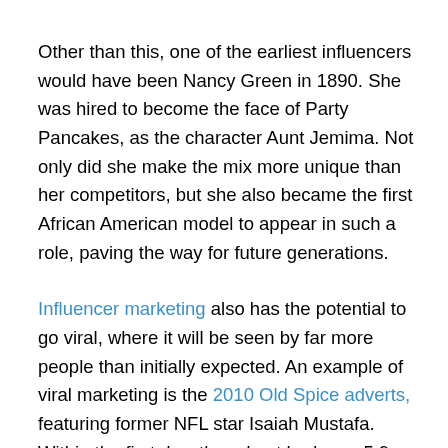Other than this, one of the earliest influencers would have been Nancy Green in 1890. She was hired to become the face of Party Pancakes, as the character Aunt Jemima. Not only did she make the mix more unique than her competitors, but she also became the first African American model to appear in such a role, paving the way for future generations.
Influencer marketing also has the potential to go viral, where it will be seen by far more people than initially expected. An example of viral marketing is the 2010 Old Spice adverts, featuring former NFL star Isaiah Mustafa. Within the first day, the advert had over 5.9 million views on YouTube alone. By the end of 2010, sales had increased by 125% and Old Spice was the most popular men's body wash in the United States, showing proof of how successful influencer marketing can